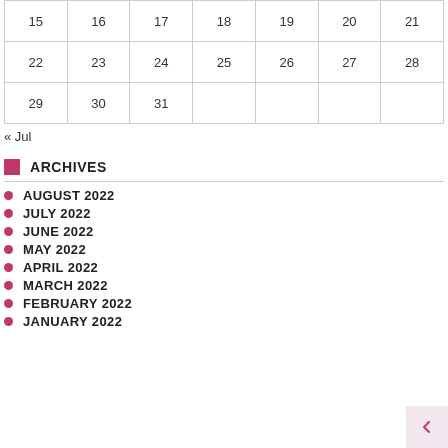| 15 | 16 | 17 | 18 | 19 | 20 | 21 |
| 22 | 23 | 24 | 25 | 26 | 27 | 28 |
| 29 | 30 | 31 |  |  |  |  |
« Jul
ARCHIVES
AUGUST 2022
JULY 2022
JUNE 2022
MAY 2022
APRIL 2022
MARCH 2022
FEBRUARY 2022
JANUARY 2022